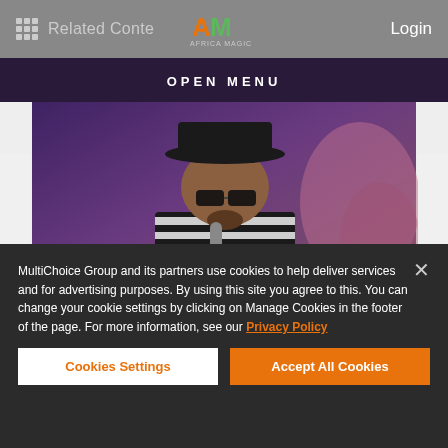Related Content | Login
[Figure (screenshot): Africa Magic website screenshot showing a man wearing a black hat and striped black-and-white outfit, holding a microphone at what appears to be the AMVCA (Africa Magic Viewers Choice Awards) event. The image shows OPEN MENU overlay text at the top and MVCA logo at the bottom left.]
MultiChoice Group and its partners use cookies to help deliver services and for advertising purposes. By using this site you agree to this. You can change your cookie settings by clicking on Manage Cookies in the footer of the page. For more information, see our Privacy Policy
Cookies Settings
Accept All Cookies